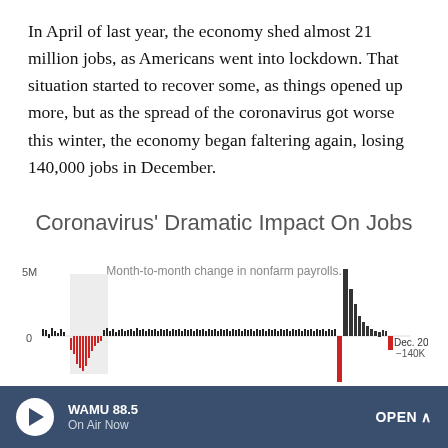In April of last year, the economy shed almost 21 million jobs, as Americans went into lockdown. That situation started to recover some, as things opened up more, but as the spread of the coronavirus got worse this winter, the economy began faltering again, losing 140,000 jobs in December.
[Figure (bar-chart): Coronavirus' Dramatic Impact On Jobs]
WAMU 88.5 On Air Now   OPEN